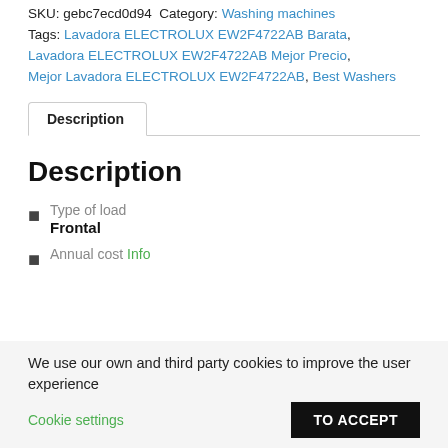SKU: gebc7ecd0d94 Category: Washing machines Tags: Lavadora ELECTROLUX EW2F4722AB Barata, Lavadora ELECTROLUX EW2F4722AB Mejor Precio, Mejor Lavadora ELECTROLUX EW2F4722AB, Best Washers
Description (tab)
Description
Type of load Frontal
Annual cost Info
We use our own and third party cookies to improve the user experience Cookie settings TO ACCEPT